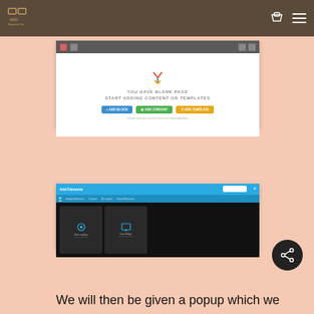[Figure (screenshot): Website navigation bar with logo on left and cart/menu icons on right, dark brown background]
[Figure (screenshot): Web page editor screenshot showing blank page with message 'YOU HAVE BLANK PAGE START ADDING CONTENT OR TEMPLATES' and three buttons: Add Block (blue), Add Content (green), Add Template (orange)]
[Figure (screenshot): Add Elements popup with blue toolbar, search box, category tabs (All, Simple Elements, Contact, 3D Layout, Visual Elements), and dark content area with two cards: Video Lightbox and Coco Widget]
[Figure (other): Dark circular share button with share icon]
We will then be given a popup which we